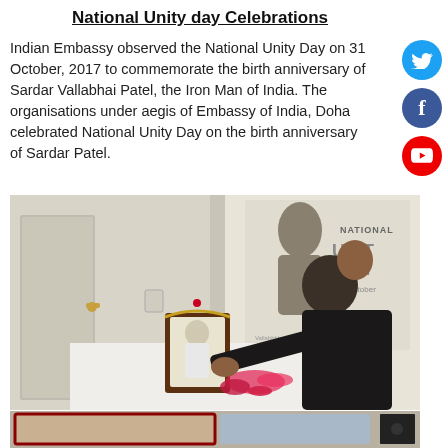National Unity day Celebrations
Indian Embassy observed the National Unity Day on 31 October, 2017 to commemorate the birth anniversary of Sardar Vallabhai Patel, the Iron Man of India. The organisations under aegis of Embassy of India, Doha celebrated National Unity Day on the birth anniversary of Sardar Patel.
[Figure (photo): A man in a black suit placing flower petals before a framed portrait of Sardar Patel on a white table, with a projection screen showing 'NATIONAL UNITY DAY 31st October' in the background.]
[Figure (photo): Partial view of another event photo at the bottom of the page.]